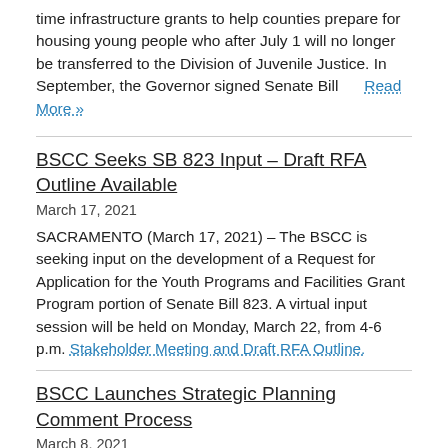time infrastructure grants to help counties prepare for housing young people who after July 1 will no longer be transferred to the Division of Juvenile Justice. In September, the Governor signed Senate Bill   Read More »
BSCC Seeks SB 823 Input – Draft RFA Outline Available
March 17, 2021
SACRAMENTO (March 17, 2021) – The BSCC is seeking input on the development of a Request for Application for the Youth Programs and Facilities Grant Program portion of Senate Bill 823. A virtual input session will be held on Monday, March 22, from 4-6 p.m. Stakeholder Meeting and Draft RFA Outline.
BSCC Launches Strategic Planning Comment Process
March 8, 2021
SACRAMENTO (March 8, 2021) – The BSCC has begun the process of updating the Strategic Plan